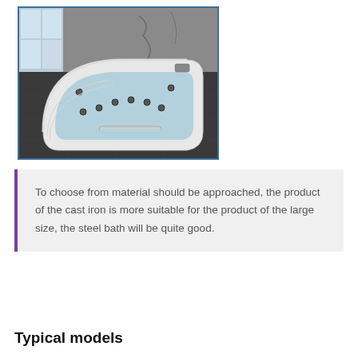[Figure (photo): A white corner whirlpool bathtub with jets, placed in a bathroom with dark tile flooring and a window in the background.]
To choose from material should be approached, the product of the cast iron is more suitable for the product of the large size, the steel bath will be quite good.
Typical models